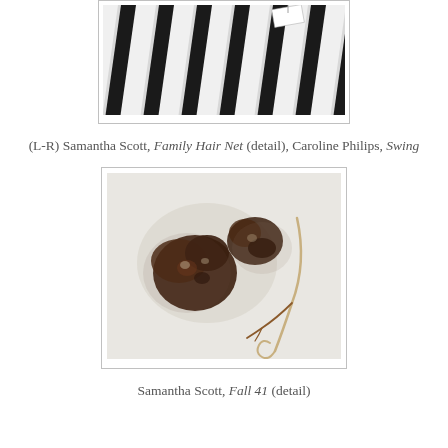[Figure (photo): Partial view of striped black and white cylindrical object, top portion cropped, with a small white tag visible]
(L-R) Samantha Scott, Family Hair Net (detail), Caroline Philips, Swing
[Figure (photo): Close-up photo of dark brown dried leaves or organic material on a pale background with a thin curved wire or stem element on the right side]
Samantha Scott, Fall 41 (detail)